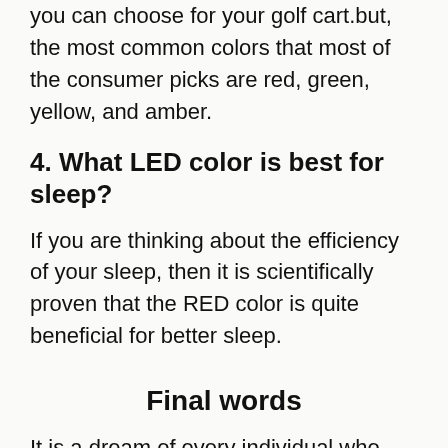you can choose for your golf cart.but, the most common colors that most of the consumer picks are red, green, yellow, and amber.
4. What LED color is best for sleep?
If you are thinking about the efficiency of your sleep, then it is scientifically proven that the RED color is quite beneficial for better sleep.
Final words
It is a dream of every individual who owns a golf cart to decorate his cart